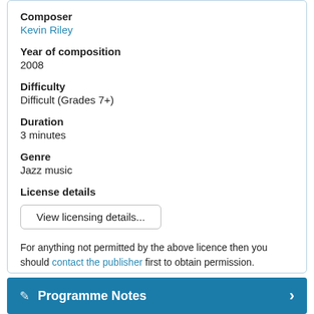Composer
Kevin Riley
Year of composition
2008
Difficulty
Difficult (Grades 7+)
Duration
3 minutes
Genre
Jazz music
License details
View licensing details...
For anything not permitted by the above licence then you should contact the publisher first to obtain permission.
Programme Notes